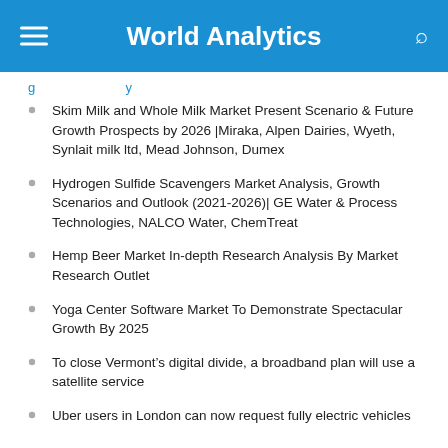World Analytics
Skim Milk and Whole Milk Market Present Scenario & Future Growth Prospects by 2026 |Miraka, Alpen Dairies, Wyeth, Synlait milk ltd, Mead Johnson, Dumex
Hydrogen Sulfide Scavengers Market Analysis, Growth Scenarios and Outlook (2021-2026)| GE Water & Process Technologies, NALCO Water, ChemTreat
Hemp Beer Market In-depth Research Analysis By Market Research Outlet
Yoga Center Software Market To Demonstrate Spectacular Growth By 2025
To close Vermont's digital divide, a broadband plan will use a satellite service
Uber users in London can now request fully electric vehicles